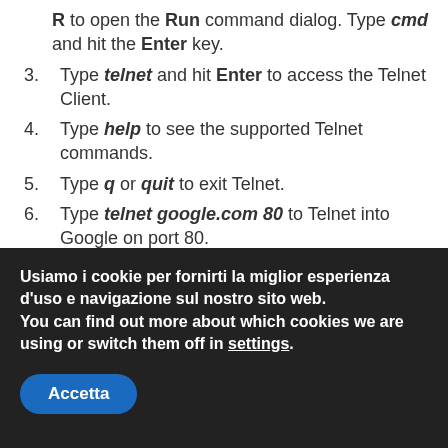Type telnet and hit Enter to access the Telnet Client.
Type help to see the supported Telnet commands.
Type q or quit to exit Telnet.
Type telnet google.com 80 to Telnet into Google on port 80.
credits to: https://social.technet.microsoft.com/wiki/contents/articles/38433.windows-10-enabling-
Usiamo i cookie per fornirti la miglior esperienza d'uso e navigazione sul nostro sito web. You can find out more about which cookies we are using or switch them off in settings. Accetta